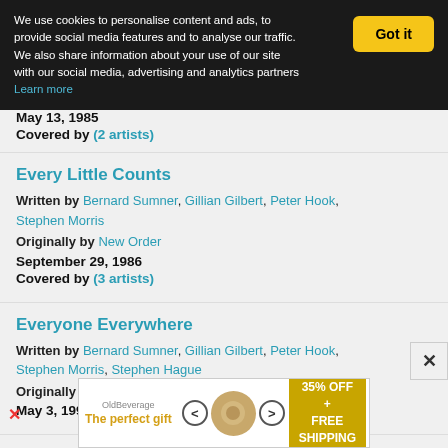We use cookies to personalise content and ads, to provide social media features and to analyse our traffic. We also share information about your use of our site with our social media, advertising and analytics partners Learn more
May 13, 1985 / Covered by (2 artists)
Every Little Counts
Written by Bernard Sumner, Gillian Gilbert, Peter Hook, Stephen Morris
Originally by New Order
September 29, 1986
Covered by (3 artists)
Everyone Everywhere
Written by Bernard Sumner, Gillian Gilbert, Peter Hook, Stephen Morris, Stephen Hague
Originally by New Order
May 3, 1993